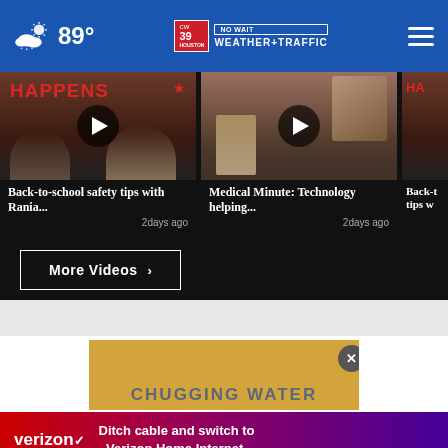89° CW39 Houston NO WAIT WEATHER+TRAFFIC
[Figure (screenshot): Video thumbnail: Back-to-school safety tips with Rania..., 2 days ago]
[Figure (screenshot): Video thumbnail: Medical Minute: Technology helping..., 2 days ago]
[Figure (screenshot): Partial video thumbnail: Back-to-school safety tips (cropped)]
More Videos ›
[Figure (screenshot): Ad video showing 'CHUGGING WATER' text on golden background with close button]
Ditch cable and switch to Verizon Home Internet.